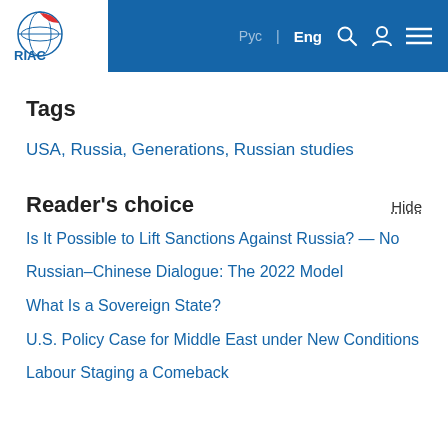RIAC | Рус | Eng
Tags
USA, Russia, Generations, Russian studies
Reader's choice
Hide
Is It Possible to Lift Sanctions Against Russia? — No
Russian–Chinese Dialogue: The 2022 Model
What Is a Sovereign State?
U.S. Policy Case for Middle East under New Conditions
Labour Staging a Comeback